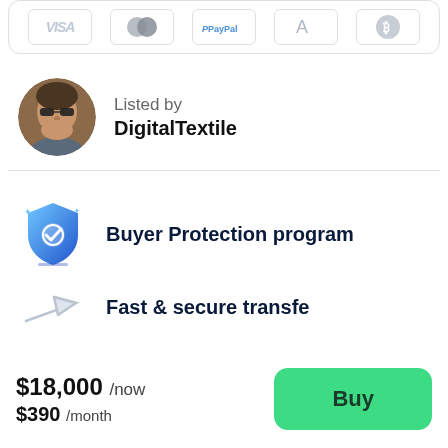[Figure (other): Payment method icons row: Visa, Mastercard, PayPal, Alipay, Bitcoin]
[Figure (photo): Avatar photo of a man wearing sunglasses, circular crop]
Listed by
DigitalTextile
[Figure (illustration): Buyer Protection program shield icon with blue gradient and checkmark]
Buyer Protection program
[Figure (illustration): Fast transfer icon (paper airplane / arrow)]
Fast & secure transfer (partial, cut off)
$18,000 /now
$390 /month
Buy